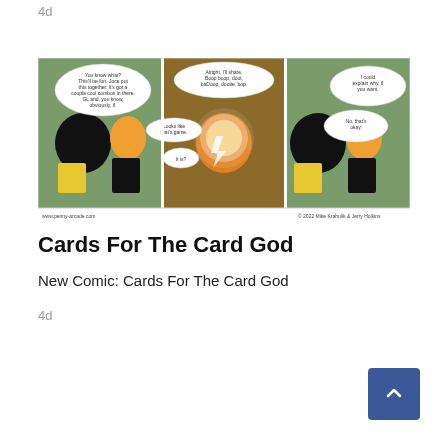4d
[Figure (illustration): Three-panel webcomic strip. Panel 1: Two characters at a table, one says 'You know what? This'll be fun. Joce put this together. It's got a couple cool combos in there. GL and, you know, obviously, IF.' Panel 2: Character with glowing eyes says 'Alright, I'll share. Boop boop, doot, baDoop, dootie, bop.' Another says 'Looks like that's game.' and 'It is?' Panel 3: First character says 'I could explain why, if you want.' Second character says 'No, that's okay.' Website URL and copyright visible at bottom.]
Cards For The Card God
New Comic: Cards For The Card God
4d